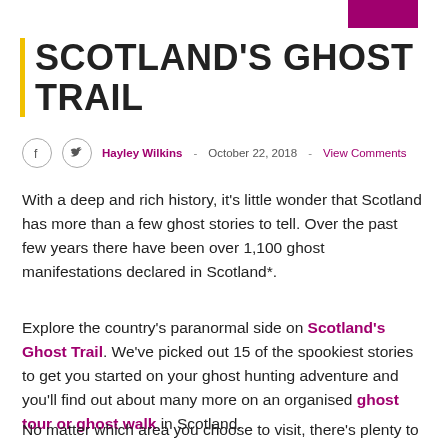SCOTLAND'S GHOST TRAIL
Hayley Wilkins  -  October 22, 2018  -  View Comments
With a deep and rich history, it's little wonder that Scotland has more than a few ghost stories to tell. Over the past few years there have been over 1,100 ghost manifestations declared in Scotland*.
Explore the country's paranormal side on Scotland's Ghost Trail. We've picked out 15 of the spookiest stories to get you started on your ghost hunting adventure and you'll find out about many more on an organised ghost tour or ghost walk in Scotland.
No matter which area you choose to visit, there's plenty to